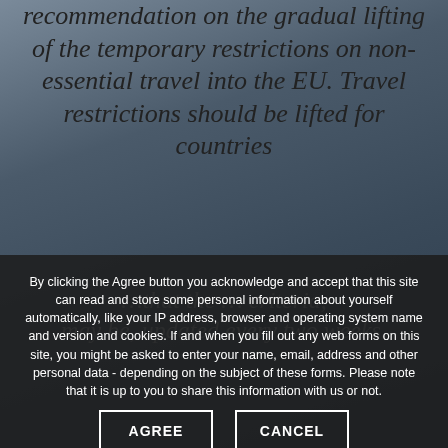recommendation on the gradual lifting of the temporary restrictions on non-essential travel into the EU. Travel restrictions should be lifted for countries ... may be, updated every two weeks.
[Figure (photo): Background photo of EU flags or European Parliament building, dark toned]
By clicking the Agree button you acknowledge and accept that this site can read and store some personal information about yourself automatically, like your IP address, browser and operating system name and version and cookies. If and when you fill out any web forms on this site, you might be asked to enter your name, email, address and other personal data - depending on the subject of these forms. Please note that it is up to you to share this information with us or not.
AGREE
CANCEL